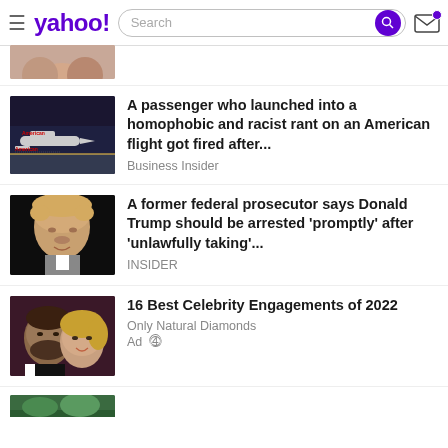yahoo! Search
[Figure (photo): Partial thumbnail of a person, cropped at top of feed]
A passenger who launched into a homophobic and racist rant on an American flight got fired after...
Business Insider
A former federal prosecutor says Donald Trump should be arrested 'promptly' after 'unlawfully taking'...
INSIDER
16 Best Celebrity Engagements of 2022
Only Natural Diamonds
Ad
[Figure (photo): Partial thumbnail at bottom of page, green/outdoor scene]